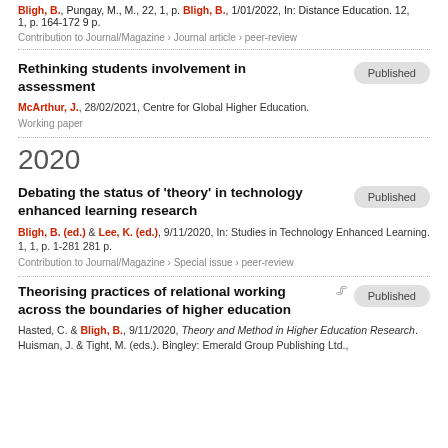Pungay, M., M., 22, 1, p. Bligh, B., 1/01/2022, In: Distance Education. 12, 1, p. 164-172 9 p.
Contribution to Journal/Magazine › Journal article › peer-review
Rethinking students involvement in assessment
Published
McArthur, J., 28/02/2021, Centre for Global Higher Education.
Working paper
2020
Debating the status of 'theory' in technology enhanced learning research
Published
Bligh, B. (ed.) & Lee, K. (ed.), 9/11/2020, In: Studies in Technology Enhanced Learning. 1, 1, p. 1-281 281 p.
Contribution to Journal/Magazine › Special issue › peer-review
Theorising practices of relational working across the boundaries of higher education
Published
Hasted, C. & Bligh, B., 9/11/2020, Theory and Method in Higher Education Research. Huisman, J. & Tight, M. (eds.). Bingley: Emerald Group Publishing Ltd.,